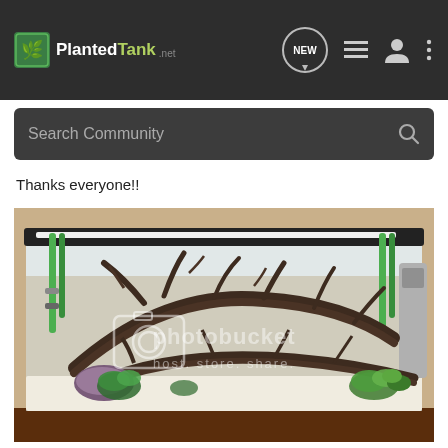Planted Tank — NEW navigation bar with search
Thanks everyone!!
[Figure (photo): Aquarium tank with driftwood, aquatic plants, white sand substrate, LED light bar on top, green tubing on sides, photobucket watermark overlay]